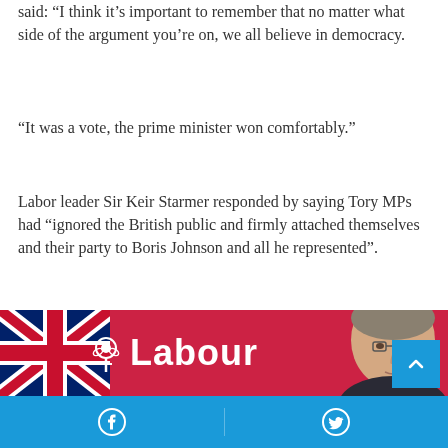said: “I think it’s important to remember that no matter what side of the argument you’re on, we all believe in democracy.
“It was a vote, the prime minister won comfortably.”
Labor leader Sir Keir Starmer responded by saying Tory MPs had “ignored the British public and firmly attached themselves and their party to Boris Johnson and all he represented”.
[Figure (photo): Sir Keir Starmer speaking in front of a red Labour party backdrop with the Labour rose logo and a Union Jack flag visible to the left. A blue scroll-to-top button is visible in the bottom right corner of the image.]
Facebook share button | Twitter share button